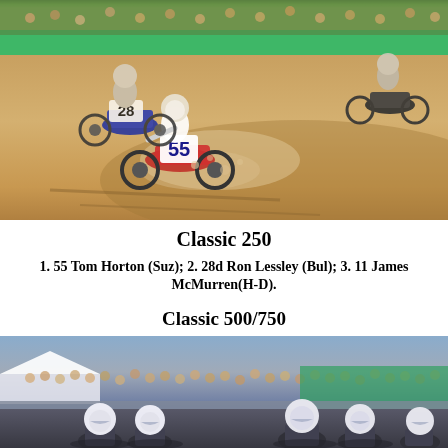[Figure (photo): Motorcycle flat track race photo showing rider #55 Tom Horton on Suzuki leading rider #28d Ron Lessley on Bultaco through a dirt turn, kicking up dust, with spectators and green fence in background]
Classic 250
1. 55 Tom Horton (Suz); 2. 28d Ron Lessley (Bul); 3. 11 James McMurren(H-D).
Classic 500/750
[Figure (photo): Motorcycle flat track race start photo showing multiple riders in white helmets lined up on the track with a large crowd of spectators visible in the background behind a barrier, with tents and structures visible]